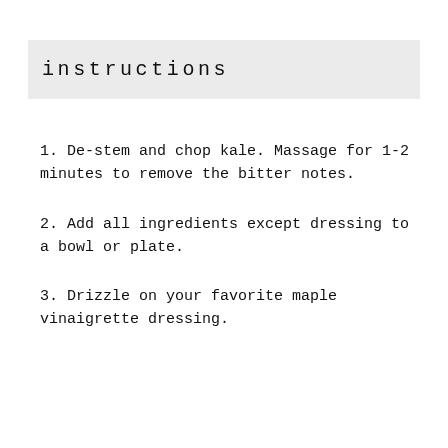instructions
1. De-stem and chop kale. Massage for 1-2 minutes to remove the bitter notes.
2. Add all ingredients except dressing to a bowl or plate.
3. Drizzle on your favorite maple vinaigrette dressing.